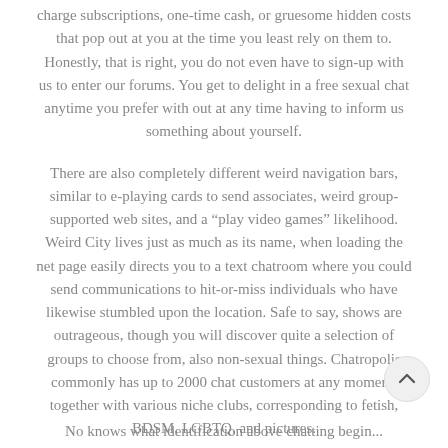charge subscriptions, one-time cash, or gruesome hidden costs that pop out at you at the time you least rely on them to. Honestly, that is right, you do not even have to sign-up with us to enter our forums. You get to delight in a free sexual chat anytime you prefer with out at any time having to inform us something about yourself.
There are also completely different weird navigation bars, similar to e-playing cards to send associates, weird group-supported web sites, and a “play video games” likelihood. Weird City lives just as much as its name, when loading the net page easily directs you to a text chatroom where you could send communications to hit-or-miss individuals who have likewise stumbled upon the location. Safe to say, shows are outrageous, though you will discover quite a selection of groups to choose from, also non-sexual things. Chatropolis commonly has up to 2000 chat customers at any moment, together with various niche clubs, corresponding to fetish, BDSM, LGBTQ, and pictures.
No knows what identification above chatting begin...